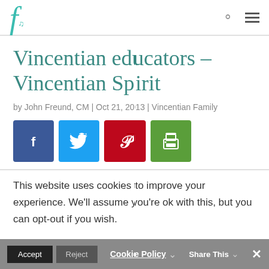f [logo] [search] [menu]
Vincentian educators – Vincentian Spirit
by John Freund, CM | Oct 21, 2013 | Vincentian Family
[Figure (other): Social sharing buttons: Facebook (blue), Twitter (light blue), Pinterest (red), Print (green)]
This website uses cookies to improve your experience. We'll assume you're ok with this, but you can opt-out if you wish.
Accept | Reject | Cookie Policy | Share This | ×